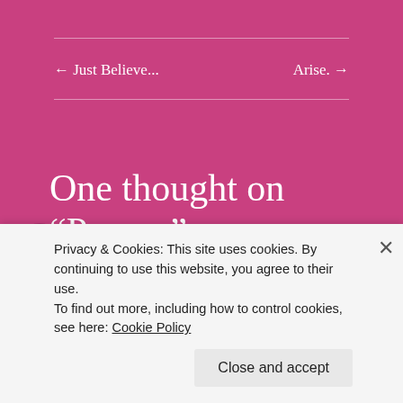← Just Believe...
Arise. →
One thought on “Power.”
Privacy & Cookies: This site uses cookies. By continuing to use this website, you agree to their use.
To find out more, including how to control cookies, see here: Cookie Policy
Close and accept